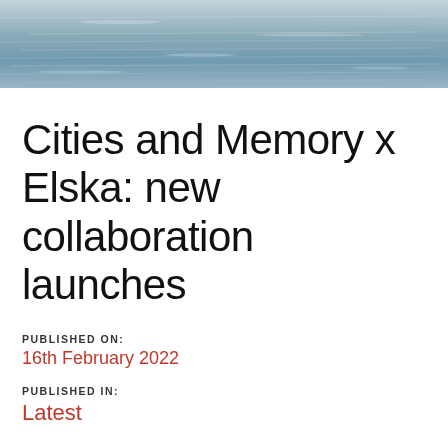[Figure (photo): Water surface photograph showing rippling ocean or sea water with grey-blue tones]
Cities and Memory x Elska: new collaboration launches
PUBLISHED ON:
16th February 2022
PUBLISHED IN:
Latest